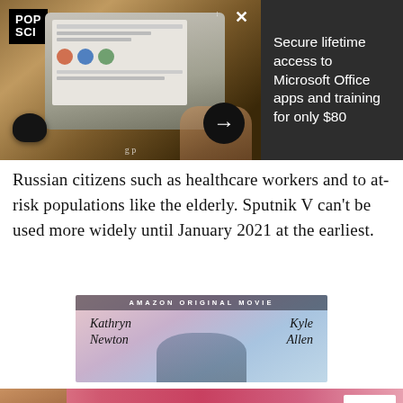[Figure (screenshot): Advertisement: Pop Sci laptop image on left with dark background and an arrow button, and dark panel on right with white text about Microsoft Office deal]
Secure lifetime access to Microsoft Office apps and training for only $80
Russian citizens such as healthcare workers and to at-risk populations like the elderly. Sputnik V can't be used more widely until January 2021 at the earliest.
[Figure (photo): Amazon Original Movie advertisement with actors Kathryn Newton and Kyle Allen shown in a romantic movie scene]
[Figure (photo): Victoria's Secret advertisement with model, VS logo, 'SHOP THE COLLECTION' text, and 'SHOP NOW' button]